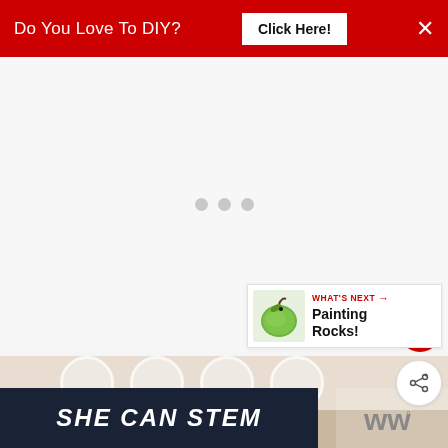[Figure (screenshot): Red advertisement banner at top reading 'Do You Love To DIY?' with a 'Click Here!' button and an X close button]
[Figure (screenshot): White/light gray content area with three loading dots (gray circles) centered, indicating content loading]
[Figure (screenshot): Red circular heart/favorite button on the right side]
[Figure (screenshot): White circular share button with share icon on the right side]
[Figure (screenshot): "WHAT'S NEXT" card showing a green apple image and text 'Painting Rocks!']
[Figure (screenshot): Bottom strip showing plates in background, 'SHE CAN STEM' text overlay in dark navy, and a 'w' logo area on right]